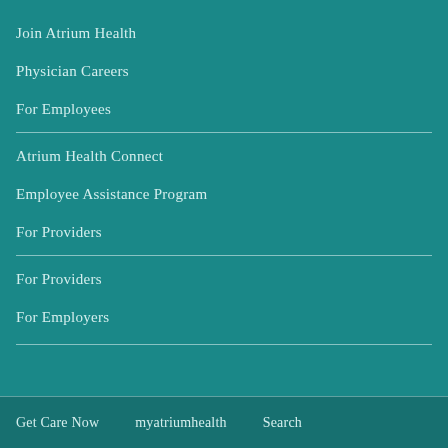Join Atrium Health
Physician Careers
For Employees
Atrium Health Connect
Employee Assistance Program
For Providers
For Providers
For Employers
Get Care Now   myatriumhealth   Search